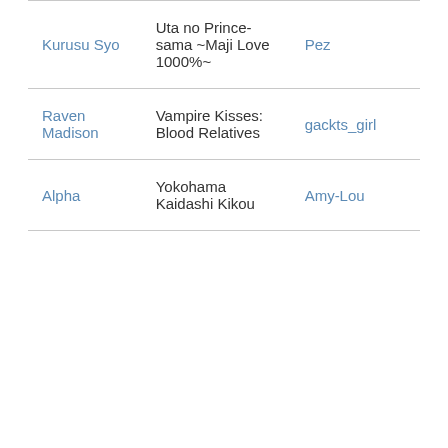| Kurusu Syo | Uta no Prince-sama ~Maji Love 1000%~ | Pez |
| Raven Madison | Vampire Kisses: Blood Relatives | gackts_girl |
| Alpha | Yokohama Kaidashi Kikou | Amy-Lou |